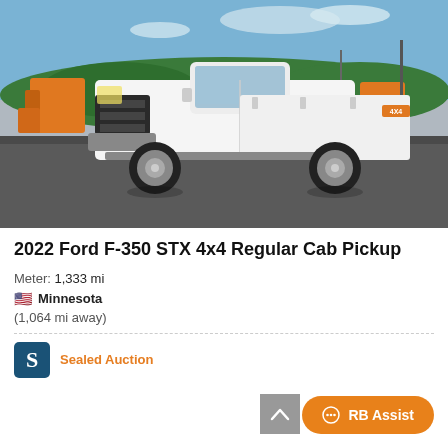[Figure (photo): 2022 Ford F-350 STX 4x4 Regular Cab Pickup truck, white, parked in a lot with orange trucks in the background and green hills under a blue sky.]
2022 Ford F-350 STX 4x4 Regular Cab Pickup
Meter: 1,333 mi
🇺🇸 Minnesota
(1,064 mi away)
Sealed Auction